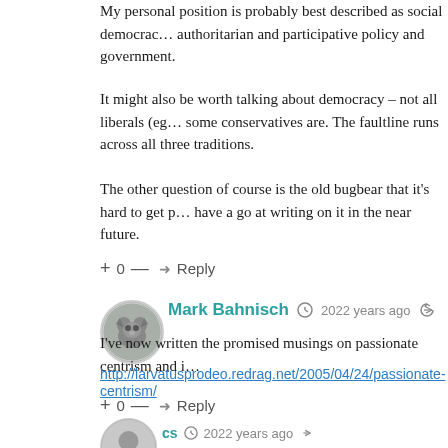My personal position is probably best described as social democracy… authoritarian and participative policy and government.
It might also be worth talking about democracy – not all liberals (eg… some conservatives are. The faultline runs across all three traditions.
The other question of course is the old bugbear that it's hard to get p… have a go at writing on it in the near future.
+ 0 — ➜ Reply
[Figure (photo): Avatar image of a cat/animal for user Mark Bahnisch]
Mark Bahnisch  2022 years ago
I've now written the promised musings on passionate centrism and i
http://larvatusprodeo.redrag.net/2005/04/24/passionate-centrism/
+ 0 — ➜ Reply
[Figure (photo): Generic grey avatar silhouette for user cs]
cs  2022 years ago